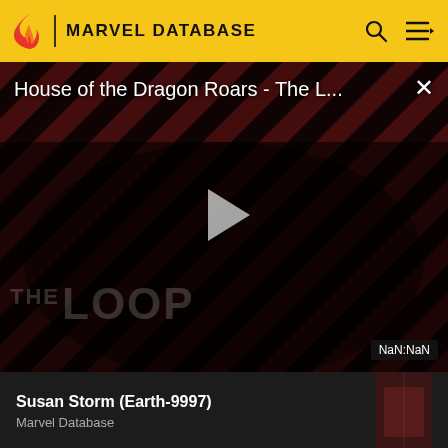MARVEL DATABASE
[Figure (screenshot): Video player banner showing 'House of the Dragon Roars - The L...' with diagonal red/dark stripe background, play button, THE LOOP watermark, NaN:NaN timestamp, and close button X]
Susan Storm (Earth-9997)
Marvel Database
[Figure (illustration): Comic book art showing a figure with blonde hair surrounded by red and white dramatic energy lines]